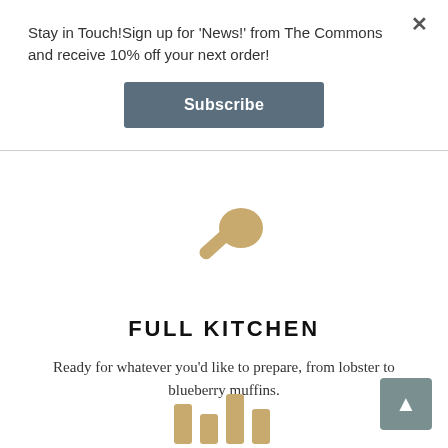Stay in Touch!Sign up for 'News!' from The Commons and receive 10% off your next order!
Subscribe
[Figure (illustration): Gold/tan colored spoon icon pointing diagonally]
FULL KITCHEN
Ready for whatever you'd like to prepare, from lobster to blueberry muffins.
[Figure (illustration): Partial view of gold/tan kitchen-related icon at bottom of page]
▲ back to top button